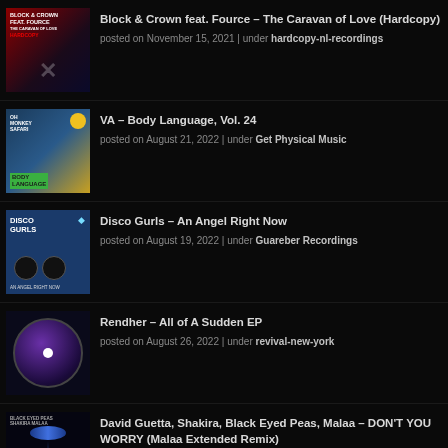Block & Crown feat. Fource – The Caravan of Love (Hardcopy)
posted on November 15, 2021 | under hardcopy-nl-recordings
VA – Body Language, Vol. 24
posted on August 21, 2022 | under Get Physical Music
Disco Gurls – An Angel Right Now
posted on August 19, 2022 | under Guareber Recordings
Rendher – All of A Sudden EP
posted on August 26, 2022 | under revival-new-york
David Guetta, Shakira, Black Eyed Peas, Malaa – DON'T YOU WORRY (Malaa Extended Remix)
posted on August 21, 2022 | under epic
Mia Mendi – Robosynapse EP